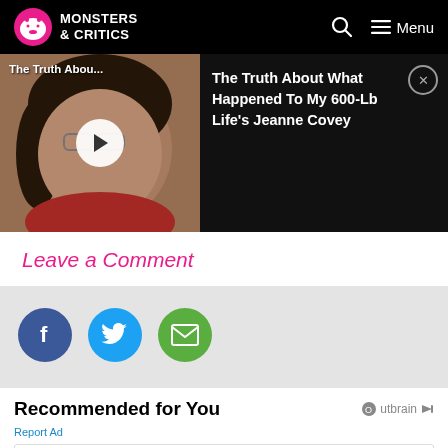Monsters & Critics
[Figure (screenshot): Video thumbnail showing a woman, titled 'The Truth Abou...' with a play button overlay]
The Truth About What Happened To My 600-Lb Life's Jeanne Covey
Leave a Comment
[Figure (infographic): Social share buttons: Facebook, Twitter, Email]
Recommended for You
Outbrain
Report Ad
[Figure (screenshot): Ad card showing Dine-in and Curbside pickup options with a navigation icon]